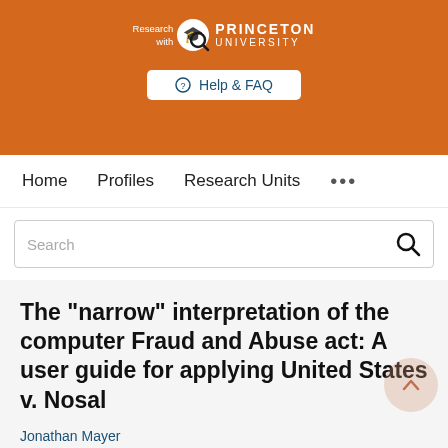[Figure (logo): Princeton University 'Research with Princeton University' logo with magnifying glass emblem on orange background]
Help & FAQ
Home   Profiles   Research Units   ...
The "narrow" interpretation of the computer Fraud and Abuse act: A user guide for applying United States v. Nosal
Jonathan Mayer
Research output: Contribution to journal › Article › peer-review